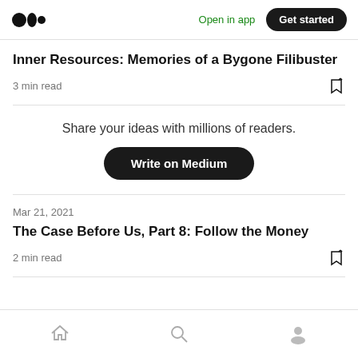Medium logo | Open in app | Get started
Inner Resources: Memories of a Bygone Filibuster
3 min read
Share your ideas with millions of readers.
Write on Medium
Mar 21, 2021
The Case Before Us, Part 8: Follow the Money
2 min read
Home | Search | Profile